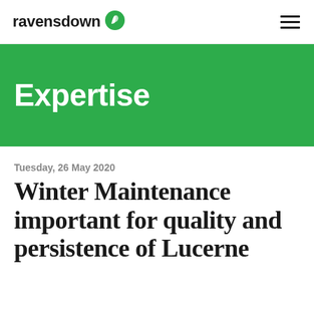ravensdown
Expertise
Tuesday, 26 May 2020
Winter Maintenance important for quality and persistence of Lucerne